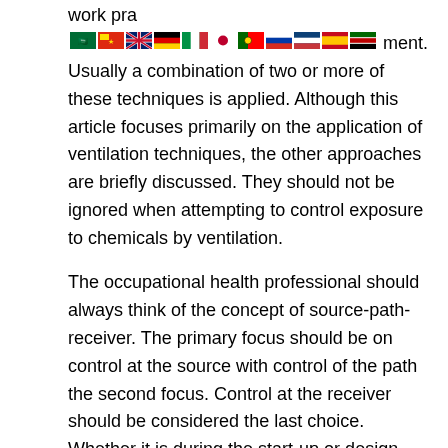work pra[flags]ment. Usually a combination of two or more of these techniques is applied. Although this article focuses primarily on the application of ventilation techniques, the other approaches are briefly discussed. They should not be ignored when attempting to control exposure to chemicals by ventilation.
The occupational health professional should always think of the concept of source-path-receiver. The primary focus should be on control at the source with control of the path the second focus. Control at the receiver should be considered the last choice. Whether it is during the start-up or design phases of a process or during the evaluation of an existing process, the procedure for control of exposure to air contaminants should start at the source and progress to the receiver. It is likely that all or most of these control strategies will need to be used.
Substitution
The principle of substitution is to eliminate or reduce the